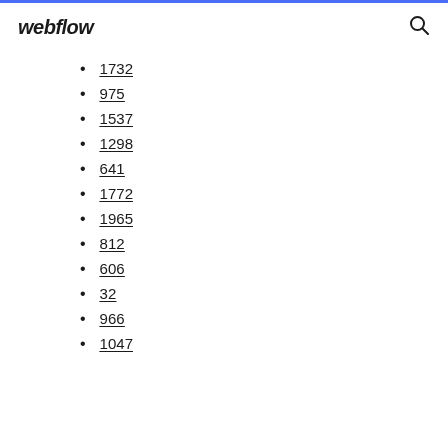webflow
1732
975
1537
1298
641
1772
1965
812
606
32
966
1047